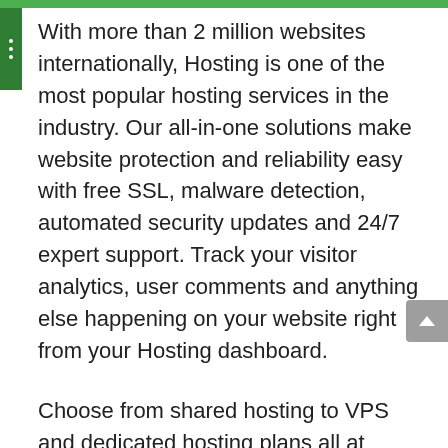With more than 2 million websites internationally, Hosting is one of the most popular hosting services in the industry. Our all-in-one solutions make website protection and reliability easy with free SSL, malware detection, automated security updates and 24/7 expert support. Track your visitor analytics, user comments and anything else happening on your website right from your Hosting dashboard.
Choose from shared hosting to VPS and dedicated hosting plans all at affordable rates. Bluehost also has dedicated WordPress hosting plans. Add bookings, online ordering, customer chat windows and anything else you need to transform your website into the ultimate can-do machine. Customize your website to your heart's content with true design flexibility. No other